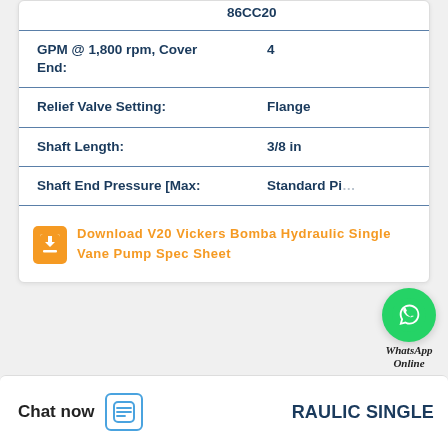| Specification | Value |
| --- | --- |
|  | 86CC20 |
| GPM @ 1,800 rpm, Cover End: | 4 |
| Relief Valve Setting: | Flange |
| Shaft Length: | 3/8 in |
| Shaft End Pressure [Max: | Standard Pi... |
Download V20 Vickers Bomba Hydraulic Single Vane Pump Spec Sheet
[Figure (logo): WhatsApp Online green circle icon with phone handset, labeled WhatsApp Online]
Chat now
RAULIC SINGLE